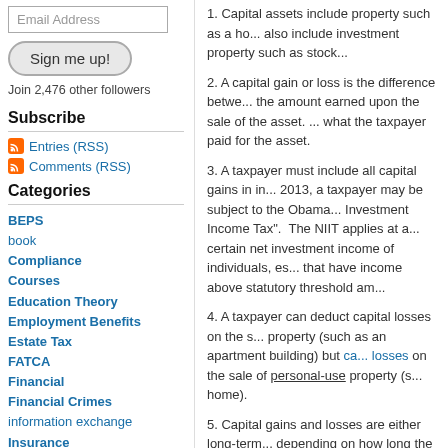Email Address
Sign me up!
Join 2,476 other followers
Subscribe
Entries (RSS)
Comments (RSS)
Categories
BEPS
book
Compliance
Courses
Education Theory
Employment Benefits
Estate Tax
FATCA
Financial
Financial Crimes
information exchange
Insurance
international taxation
Legal History
1. Capital assets include property such as a ho... also include investment property such as stock...
2. A capital gain or loss is the difference betwe... the amount earned upon the sale of the asset. ... what the taxpayer paid for the asset.
3. A taxpayer must include all capital gains in in... 2013, a taxpayer may be subject to the Obama... Investment Income Tax". The NIIT applies at a... certain net investment income of individuals, es... that have income above statutory threshold am...
4. A taxpayer can deduct capital losses on the s... property (such as an apartment building) but ca... losses on the sale of personal-use property (s... home).
5. Capital gains and losses are either long-term... depending on how long the property is owned. ... the property for more than one year, the gain o... owned one year or less, the gain or loss is sho...
6. If long-term gains are more than long-term lo... between the two is a “net long-term capital gai... capital gain is more than net short-term capital... taxpayer has a ‘net capital gain.’